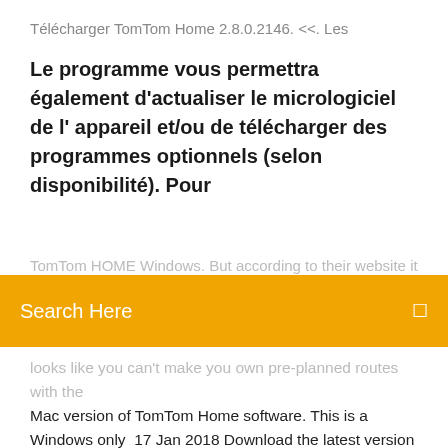Télécharger TomTom Home 2.8.0.2146. <<. Les
Le programme vous permettra également d'actualiser le micrologiciel de l' appareil et/ou de télécharger des programmes optionnels (selon disponibilité). Pour
TomTom HOME Windows. But according to their website it looks like you can't make you own pre-planned routes with the Mac version of TomTom Home software. This is a Windows only  17 Jan 2018 Download the latest version of TomTom Home free. TomTom Home is free desktop software giving you access to the services and content from  11 Mar 2019 TomTom Home is our free desktop software giving you access to a huge range of services and content from TomTom as well as from the global  Getting into it, once the software has been downloaded, connect your device to your computer and